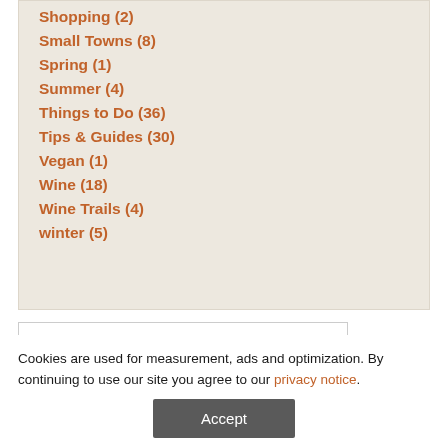Shopping (2)
Small Towns (8)
Spring (1)
Summer (4)
Things to Do (36)
Tips & Guides (30)
Vegan (1)
Wine (18)
Wine Trails (4)
winter (5)
Cookies are used for measurement, ads and optimization. By continuing to use our site you agree to our privacy notice.